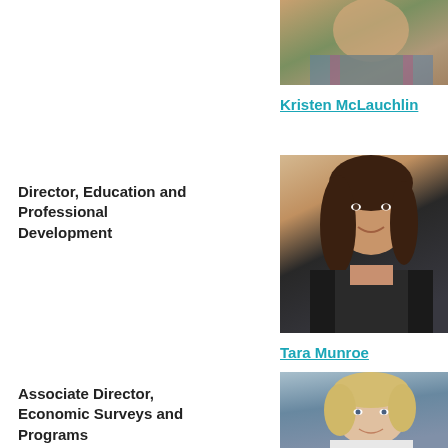[Figure (photo): Partial photo of Kristen McLauchlin at top of page]
Kristen McLauchlin
Director, Education and Professional Development
[Figure (photo): Portrait photo of Tara Munroe, woman with dark hair wearing black jacket, smiling]
Tara Munroe
Associate Director, Economic Surveys and Programs
[Figure (photo): Portrait photo of a young woman with blonde hair against blue-grey background]